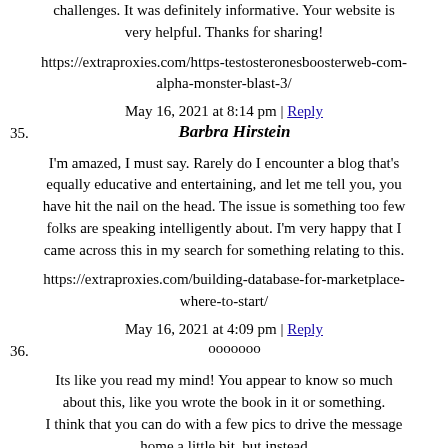challenges. It was definitely informative. Your website is very helpful. Thanks for sharing!
https://extraproxies.com/https-testosteronesboosterweb-com-alpha-monster-blast-3/
May 16, 2021 at 8:14 pm | Reply
35. Barbra Hirstein
I'm amazed, I must say. Rarely do I encounter a blog that's equally educative and entertaining, and let me tell you, you have hit the nail on the head. The issue is something too few folks are speaking intelligently about. I'm very happy that I came across this in my search for something relating to this.
https://extraproxies.com/building-database-for-marketplace-where-to-start/
May 16, 2021 at 4:09 pm | Reply
36. ооооооо
Its like you read my mind! You appear to know so much about this, like you wrote the book in it or something. I think that you can do with a few pics to drive the message home a little bit, but instead of that, this is magnificent blog. A great read.